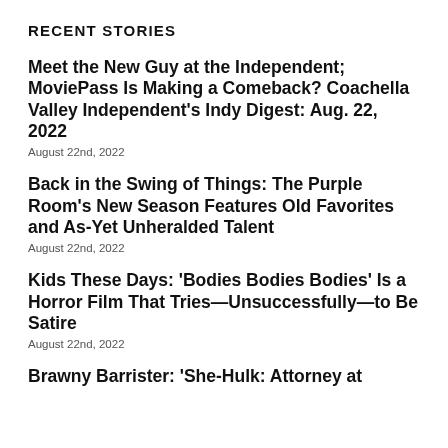RECENT STORIES
Meet the New Guy at the Independent; MoviePass Is Making a Comeback? Coachella Valley Independent's Indy Digest: Aug. 22, 2022
August 22nd, 2022
Back in the Swing of Things: The Purple Room's New Season Features Old Favorites and As-Yet Unheralded Talent
August 22nd, 2022
Kids These Days: 'Bodies Bodies Bodies' Is a Horror Film That Tries—Unsuccessfully—to Be Satire
August 22nd, 2022
Brawny Barrister: 'She-Hulk: Attorney at